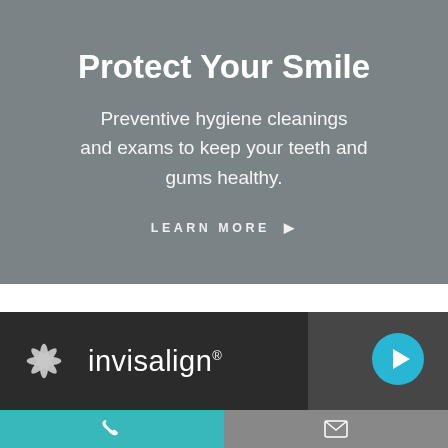Protect Your Smile
Preventive hygiene cleanings and exams to keep your teeth and gums healthy.
LEARN MORE ▶
[Figure (logo): Invisalign logo with snowflake/star emblem and wordmark on dark background, with a play button icon]
[Figure (infographic): Bottom navigation bar with phone icon (teal background) and email icon (gray background)]